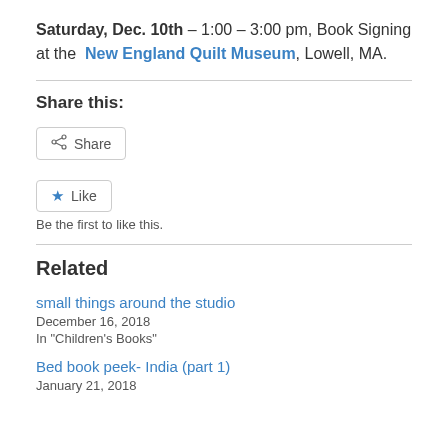Saturday, Dec. 10th – 1:00 – 3:00 pm, Book Signing at the New England Quilt Museum, Lowell, MA.
Share this:
[Figure (other): Share button widget with share icon]
[Figure (other): Like button widget with star icon and 'Be the first to like this.' text]
Related
small things around the studio
December 16, 2018
In "Children's Books"
Bed book peek- India (part 1)
January 21, 2018